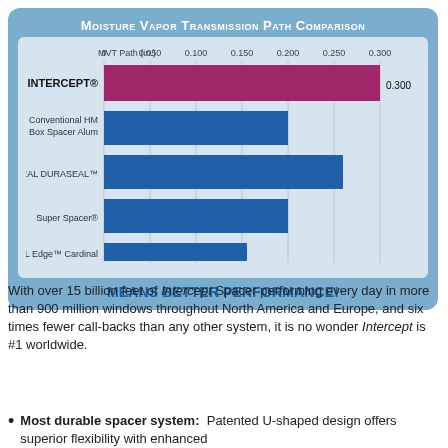[Figure (bar-chart): Moisture Vapor Transmission Path Comparison]
With over 15 billion feet of Intercept Spacer performing every day in more than 900 million windows throughout North America and Europe, and six times fewer call-backs than any other system, it is no wonder Intercept is #1 worldwide.
Most durable spacer system:  Patented U-shaped design offers superior flexibility with enhanced...